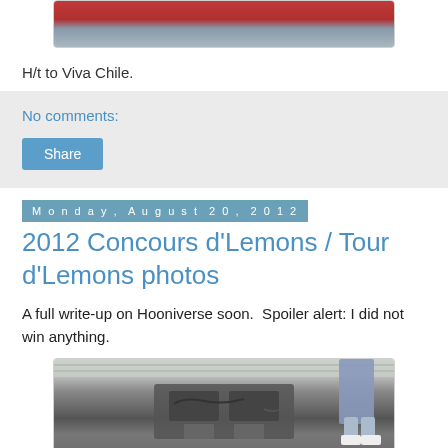[Figure (photo): Partial photo of red/patterned items on a surface, cropped at top]
H/t to Viva Chile.
No comments:
Share
Monday, August 20, 2012
2012 Concours d'Lemons / Tour d'Lemons photos
A full write-up on Hooniverse soon.  Spoiler alert: I did not win anything.
[Figure (photo): Photo of a car engine bay, open hood, visible engine components, person standing nearby in jeans]